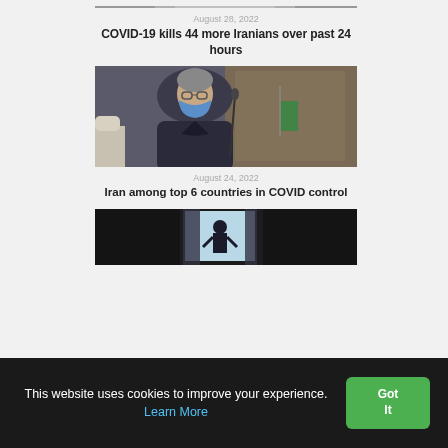[Figure (photo): Partial top image strip visible at top of page]
August 28, 2022
COVID-19 kills 44 more Iranians over past 24 hours
[Figure (photo): Official wearing blue face mask at a desk, Iranian flag visible in background]
August 24, 2022
Iran among top 6 countries in COVID control
[Figure (photo): Dark image showing a person near a bright window with curtains, appears to be a medical or indoor setting]
This website uses cookies to improve your experience. Learn More
Got It